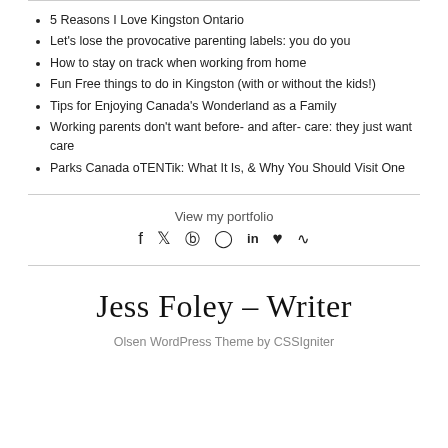5 Reasons I Love Kingston Ontario
Let's lose the provocative parenting labels: you do you
How to stay on track when working from home
Fun Free things to do in Kingston (with or without the kids!)
Tips for Enjoying Canada's Wonderland as a Family
Working parents don't want before- and after- care: they just want care
Parks Canada oTENTik: What It Is, & Why You Should Visit One
View my portfolio
[Figure (other): Social media icons: f (Facebook), bird (Twitter), circled P (Pinterest), square circle (Instagram), in (LinkedIn), heart, RSS feed]
Jess Foley – Writer
Olsen WordPress Theme by CSSIgniter